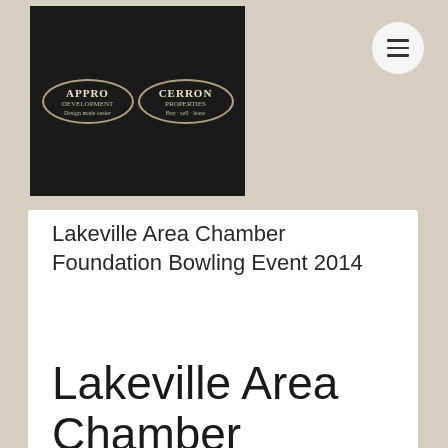[Figure (logo): Appro Development and Cerron Properties logos side by side on a dark background]
Lakeville Area Chamber Foundation Bowling Event 2014
Lakeville Area Chamber Foundation Bowling